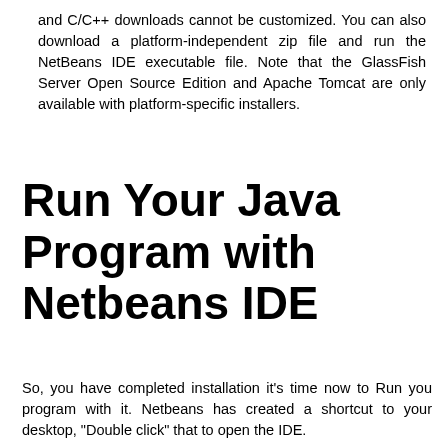and C/C++ downloads cannot be customized. You can also download a platform-independent zip file and run the NetBeans IDE executable file. Note that the GlassFish Server Open Source Edition and Apache Tomcat are only available with platform-specific installers.
Run Your Java Program with Netbeans IDE
So, you have completed installation it's time now to Run you program with it. Netbeans has created a shortcut to your desktop, "Double click" that to open the IDE.